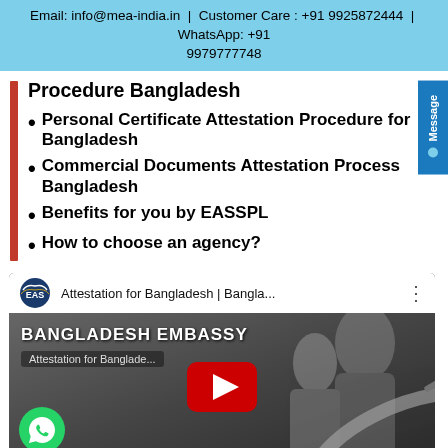Email: info@mea-india.in | Customer Care : +91 9925872444 | WhatsApp: +91 9979777748
Procedure Bangladesh
Personal Certificate Attestation Procedure for Bangladesh
Commercial Documents Attestation Process Bangladesh
Benefits for you by EASSPL
How to choose an agency?
[Figure (screenshot): YouTube video thumbnail showing 'Attestation for Bangladesh | Bangla...' with EAS logo, Bangladesh Embassy title, and YouTube play button overlay. WhatsApp icon in bottom left corner.]